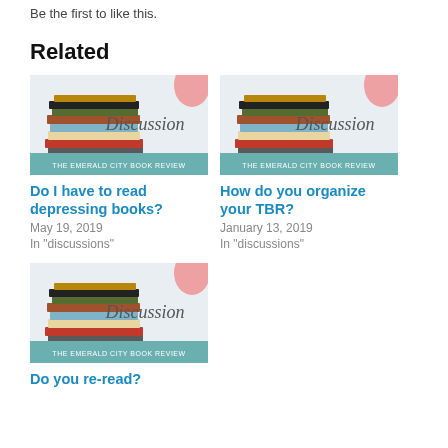Be the first to like this.
Related
[Figure (illustration): Discussion category image for The Emerald City Book Review showing a stack of books and the word Discussion]
Do I have to read depressing books?
May 19, 2019
In "discussions"
[Figure (illustration): Discussion category image for The Emerald City Book Review showing a stack of books and the word Discussion]
How do you organize your TBR?
January 13, 2019
In "discussions"
[Figure (illustration): Discussion category image for The Emerald City Book Review showing a stack of books and the word Discussion]
Do you re-read?